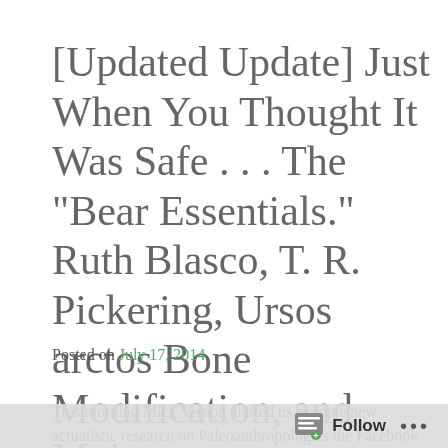[Updated Update] Just When You Thought It Was Safe . . . The "Bear Essentials." Ruth Blasco, T. R. Pickering, Ursos arctos Bone Modification, and Me!
Posted on July 17, 2014
This morning Mick Vernon alerted us to some new actualistic research on Paleoanthropologies the Facebook
Follow ...